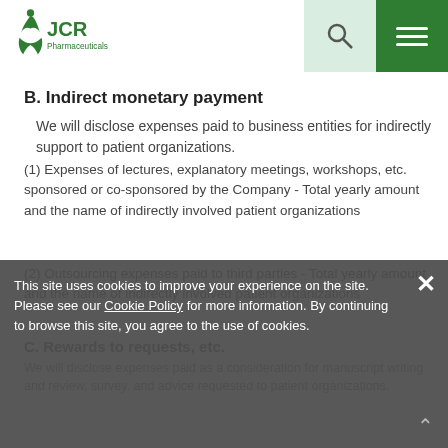JCR Pharmaceuticals
B. Indirect monetary payment
We will disclose expenses paid to business entities for indirectly support to patient organizations.
(1) Expenses of lectures, explanatory meetings, workshops, etc. sponsored or co-sponsored by the Company - Total yearly amount and the name of indirectly involved patient organizations
(2) Outsourcing expenses paid to third parties - Total yearly amount and the name of indirectly involved patient organizations
C. Rewards to requests, etc.
We will disclose expenses paid as a consideration for manuscript writing and review, survey, and advice requested to patient organizations.
This site uses cookies to improve your experience on the site. Please see our Cookie Policy for more information. By continuing to browse this site, you agree to the use of cookies.